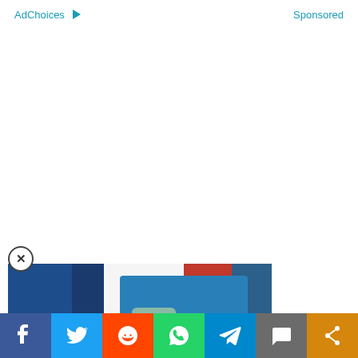AdChoices ▷   Sponsored
[Figure (photo): Video thumbnail showing a male tennis player kissing a trophy, with a play button overlay. Background includes red, blue, and yellow/green elements.]
ncredibly tough to beat in
hiard is yet to drop ⊗ set and is coming off a commanding 6-4 6-4 win over
Social sharing bar: Facebook, Twitter, Reddit, WhatsApp, Telegram, Comments, Share